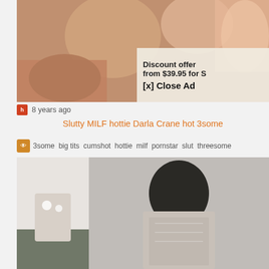[Figure (screenshot): Video thumbnail showing people, partially obscured by advertisement overlay]
Discount offer from $39.95 for S
[x] Close Ad
8 years ago
Slutty MILF hottie Darla Crane hot 3some
3some  big tits  cumshot  hottie  milf  pornstar  slut  threesome
[Figure (screenshot): Second video thumbnail showing two panels]